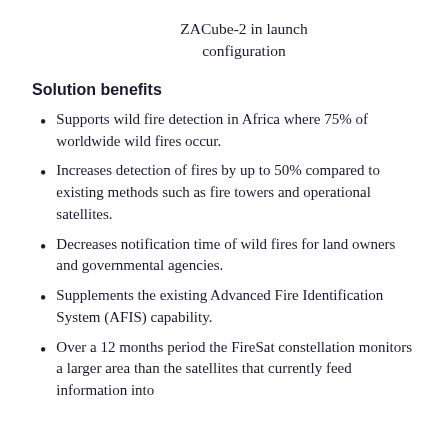ZACube-2 in launch configuration
Solution benefits
Supports wild fire detection in Africa where 75% of worldwide wild fires occur.
Increases detection of fires by up to 50% compared to existing methods such as fire towers and operational satellites.
Decreases notification time of wild fires for land owners and governmental agencies.
Supplements the existing Advanced Fire Identification System (AFIS) capability.
Over a 12 months period the FireSat constellation monitors a larger area than the satellites that currently feed information into